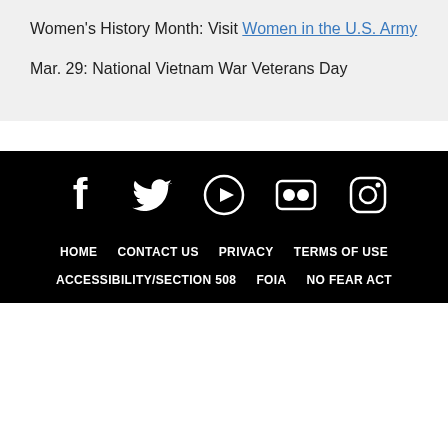Women's History Month: Visit Women in the U.S. Army
Mar. 29: National Vietnam War Veterans Day
[Figure (infographic): Social media icons row: Facebook, Twitter, YouTube, Flickr, Instagram — white icons on black background]
HOME  CONTACT US  PRIVACY  TERMS OF USE  ACCESSIBILITY/SECTION 508  FOIA  NO FEAR ACT